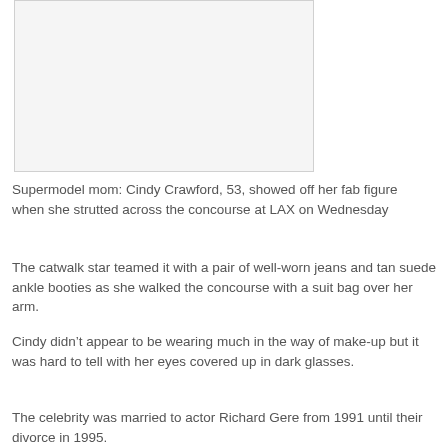[Figure (photo): Photo placeholder of Cindy Crawford at LAX]
Supermodel mom: Cindy Crawford, 53, showed off her fab figure when she strutted across the concourse at LAX on Wednesday
The catwalk star teamed it with a pair of well-worn jeans and tan suede ankle booties as she walked the concourse with a suit bag over her arm.
Cindy didn’t appear to be wearing much in the way of make-up but it was hard to tell with her eyes covered up in dark glasses.
The celebrity was married to actor Richard Gere from 1991 until their divorce in 1995.